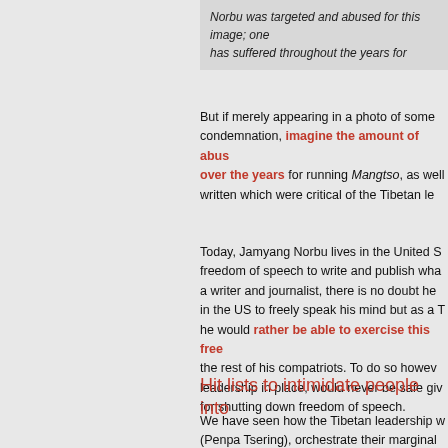Norbu was targeted and abused for this image; one has suffered throughout the years for
But if merely appearing in a photo of some condemnation, imagine the amount of abus over the years for running Mangtso, as well written which were critical of the Tibetan le
Today, Jamyang Norbu lives in the United S freedom of speech to write and publish wha a writer and journalist, there is no doubt he in the US to freely speak his mind but as a T he would rather be able to exercise this free the rest of his compatriots. To do so howev leadership in place, would never be safe giv for shutting down freedom of speech.
Hit lists to intimidate people into
We have seen how the Tibetan leadership w (Penpa Tsering), orchestrate their marginal